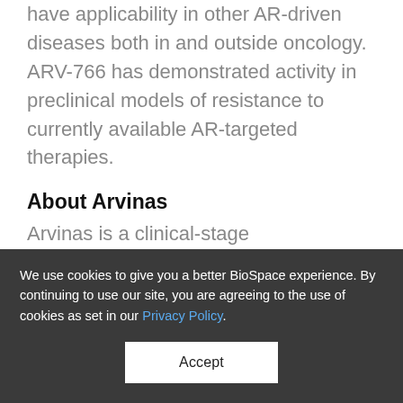have applicability in other AR-driven diseases both in and outside oncology. ARV-766 has demonstrated activity in preclinical models of resistance to currently available AR-targeted therapies.
About Arvinas
Arvinas is a clinical-stage biotechnology company dedicated to improving the lives of patients suffering from debilitating and life-threatening diseases through the discovery, development, and
We use cookies to give you a better BioSpace experience. By continuing to use our site, you are agreeing to the use of cookies as set in our Privacy Policy.